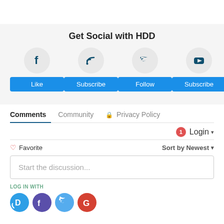Get Social with HDD
[Figure (infographic): Four social media icons in circles (Facebook, RSS/Subscribe, Twitter, YouTube) each with a blue button beneath (Like, Subscribe, Follow, Subscribe)]
Comments  Community  🔒 Privacy Policy
1  Login ▾
♡ Favorite   Sort by Newest ▾
Start the discussion...
LOG IN WITH
[Figure (logo): Social login icons: Disqus (blue), Facebook (dark blue/purple), Twitter (light blue), Google (red)]